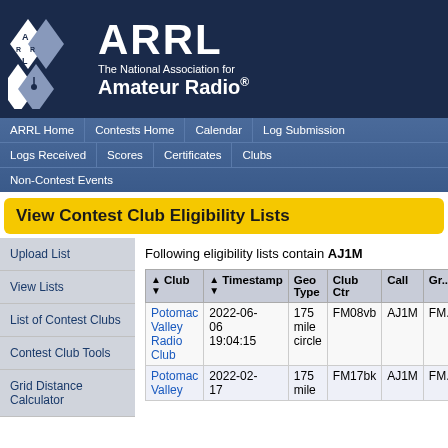[Figure (logo): ARRL logo - diamond shapes with R and other letters, white on dark navy background]
ARRL The National Association for Amateur Radio®
ARRL Home | Contests Home | Calendar | Log Submission | Logs Received | Scores | Certificates | Clubs | Non-Contest Events
View Contest Club Eligibility Lists
Upload List
View Lists
List of Contest Clubs
Contest Club Tools
Grid Distance Calculator
Following eligibility lists contain AJ1M
| Club | Timestamp | Geo Type | Club Ctr | Call | Gr... |
| --- | --- | --- | --- | --- | --- |
| Potomac Valley Radio Club | 2022-06-06 19:04:15 | 175 mile circle | FM08vb | AJ1M | FM... |
| Potomac Valley | 2022-02-17 | 175 mile | FM17bk | AJ1M | FM... |